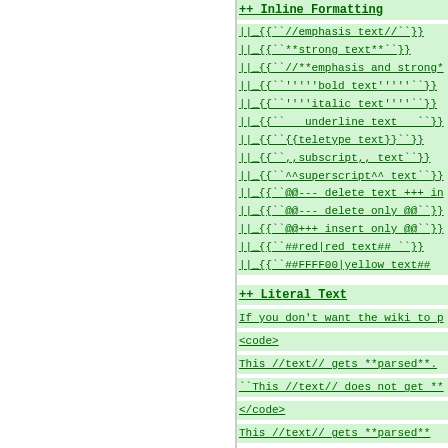++ Inline Formatting
||_{{``//emphasis text//``}}
||_{{``**strong text**``}}
||_{{``//**emphasis and strong*
||_{{``'''''bold text'''''``}}
||_{{``''''italic text''''``}}
||_{{``   underline text   ``}}
||_{{``{{teletype text}}``}}
||_{{``,,subscript,, text``}}
||_{{``^^superscript^^ text``}}
||_{{``@@--- delete text +++ in
||_{{``@@--- delete only @@``}}
||_{{``@@+++ insert only @@``}}
||_{{``##red|red text## ``}}
||_{{``##FFFF00|yellow text##
++ Literal Text
If you don't want the wiki to p
<code>
This //text// gets **parsed**.
``This //text// does not get **
</code>
This //text// gets **parsed**